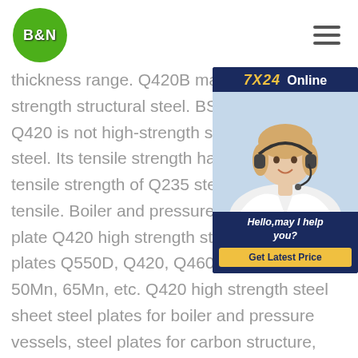B&N
[Figure (other): 7X24 Online chat support widget with a photo of a female customer service agent wearing a headset, with a greeting 'Hello, may I help you?' and a 'Get Latest Price' button.]
thickness range. Q420B material is a low-alloy high strength structural steel. BS700MC ma Q420 is not high-strength steel, it is stil steel. Its tensile strength has been imp The tensile strength of Q235 steel is 23 the tensile. Boiler and pressure vessel steel plate Q420 high strength steel sh strength plates Q550D, Q420, Q460. M plates 20Mn, 50Mn, 65Mn, etc. Q420 high strength steel sheet steel plates for boiler and pressure vessels, steel plates for carbon structure, low-alloy high-strength steel plates, corrosion-resistant steel plates, steel plates for Q420 high strength steel sheet